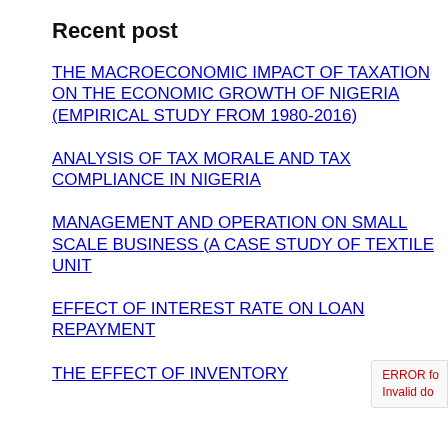Recent post
THE MACROECONOMIC IMPACT OF TAXATION ON THE ECONOMIC GROWTH OF NIGERIA (EMPIRICAL STUDY FROM 1980-2016)
ANALYSIS OF TAX MORALE AND TAX COMPLIANCE IN NIGERIA
MANAGEMENT AND OPERATION ON SMALL SCALE BUSINESS (A CASE STUDY OF TEXTILE UNIT
EFFECT OF INTEREST RATE ON LOAN REPAYMENT
THE EFFECT OF INVENTORY